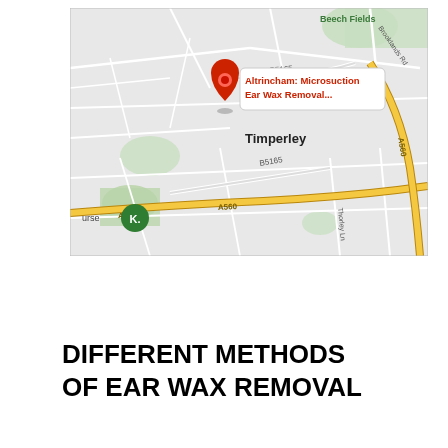[Figure (map): Google Maps screenshot showing Timperley area with a red location pin labeled 'Altrincham: Microsuction Ear Wax Removal...' Roads including A560, B5165, and Brooklands Rd are visible. A green golf course marker is visible in the lower left.]
DIFFERENT METHODS OF EAR WAX REMOVAL